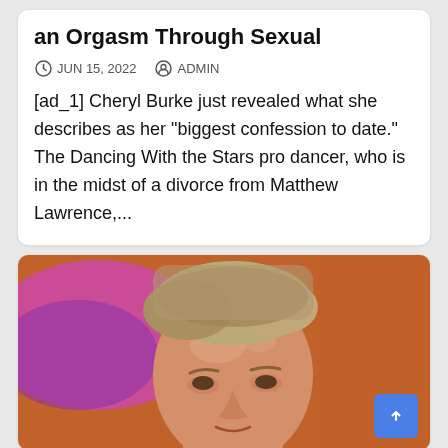an Orgasm Through Sexual
JUN 15, 2022   ADMIN
[ad_1] Cheryl Burke just revealed what she describes as her "biggest confession to date." The Dancing With the Stars pro dancer, who is in the midst of a divorce from Matthew Lawrence,...
[Figure (photo): Close-up photo of a man with short blonde hair against an orange and magenta/purple blurred background.]